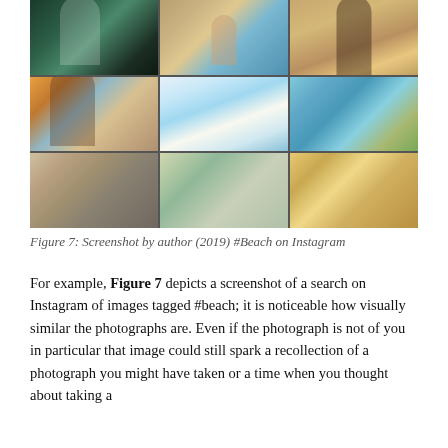[Figure (screenshot): Screenshot of Instagram search results for #Beach, showing a 3x3 grid of beach-related photos including people in swimwear on beaches and scenic beach/ocean resort locations.]
Figure 7: Screenshot by author (2019) #Beach on Instagram
For example, Figure 7 depicts a screenshot of a search on Instagram of images tagged #beach; it is noticeable how visually similar the photographs are. Even if the photograph is not of you in particular that image could still spark a recollection of a photograph you might have taken or a time when you thought about taking a